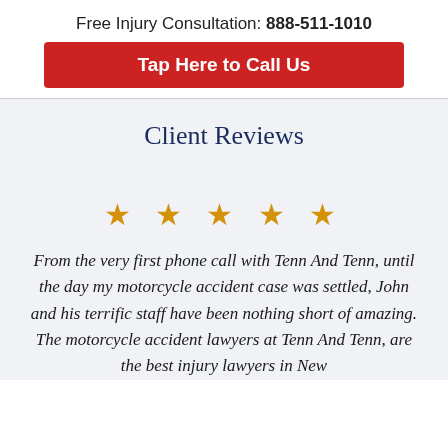Free Injury Consultation: 888-511-1010
Tap Here to Call Us
Client Reviews
[Figure (other): Five gold star rating symbols]
From the very first phone call with Tenn And Tenn, until the day my motorcycle accident case was settled, John and his terrific staff have been nothing short of amazing. The motorcycle accident lawyers at Tenn And Tenn, are the best injury lawyers in New...